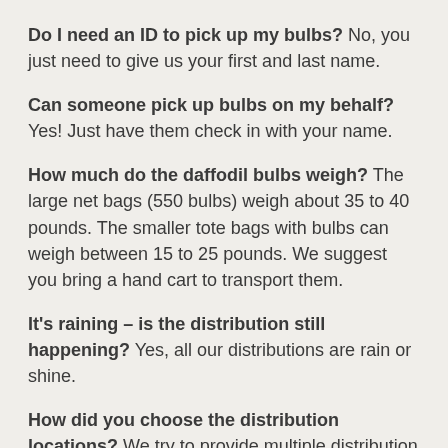Do I need an ID to pick up my bulbs? No, you just need to give us your first and last name.
Can someone pick up bulbs on my behalf? Yes! Just have them check in with your name.
How much do the daffodil bulbs weigh? The large net bags (550 bulbs) weigh about 35 to 40 pounds. The smaller tote bags with bulbs can weigh between 15 to 25 pounds. We suggest you bring a hand cart to transport them.
It's raining – is the distribution still happening? Yes, all our distributions are rain or shine.
How did you choose the distribution locations? We try to provide multiple distribution locations that are accessible